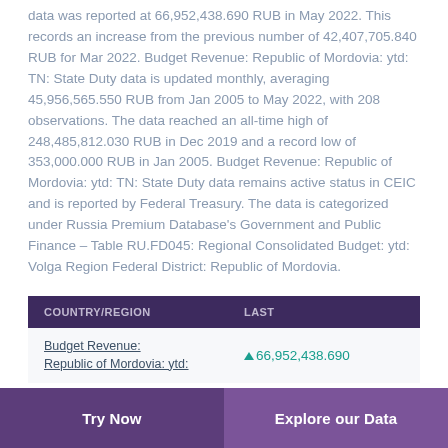data was reported at 66,952,438.690 RUB in May 2022. This records an increase from the previous number of 42,407,705.840 RUB for Mar 2022. Budget Revenue: Republic of Mordovia: ytd: TN: State Duty data is updated monthly, averaging 45,956,565.550 RUB from Jan 2005 to May 2022, with 208 observations. The data reached an all-time high of 248,485,812.030 RUB in Dec 2019 and a record low of 353,000.000 RUB in Jan 2005. Budget Revenue: Republic of Mordovia: ytd: TN: State Duty data remains active status in CEIC and is reported by Federal Treasury. The data is categorized under Russia Premium Database's Government and Public Finance – Table RU.FD045: Regional Consolidated Budget: ytd: Volga Region Federal District: Republic of Mordovia.
| COUNTRY/REGION | LAST |
| --- | --- |
| Budget Revenue: Republic of Mordovia: ytd: | 66,952,438.690 |
Try Now    Explore our Data